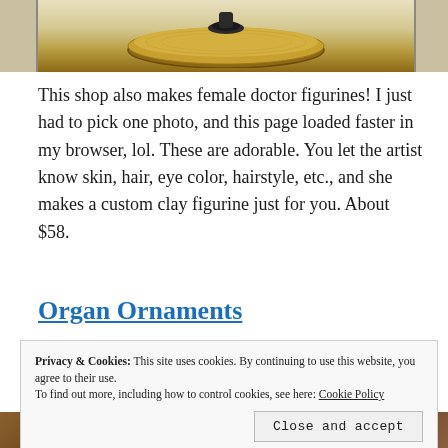[Figure (photo): Top portion of a wooden disc ornament with a small figurine on top, photographed against a light background. Only the bottom portion of the disc and figurine are visible.]
This shop also makes female doctor figurines! I just had to pick one photo, and this page loaded faster in my browser, lol. These are adorable. You let the artist know skin, hair, eye color, hairstyle, etc., and she makes a custom clay figurine just for you. About $58.
Organ Ornaments
Privacy & Cookies: This site uses cookies. By continuing to use this website, you agree to their use.
To find out more, including how to control cookies, see here: Cookie Policy
[Figure (photo): Bottom strip showing two partial images — left shows what appears to be Christmas tree decorations, right shows a colorful figurine.]